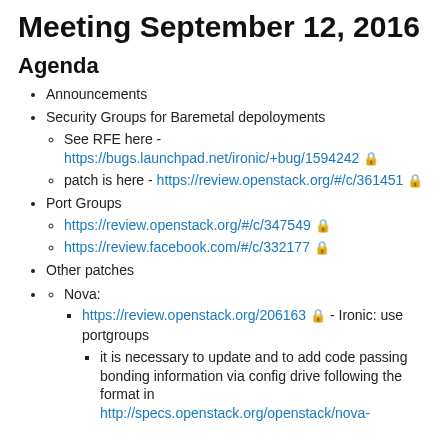Meeting September 12, 2016
Agenda
Announcements
Security Groups for Baremetal depoloyments
See RFE here - https://bugs.launchpad.net/ironic/+bug/1594242 🔒
patch is here - https://review.openstack.org/#/c/361451 🔒
Port Groups
https://review.openstack.org/#/c/347549 🔒
https://review.facebook.com/#/c/332177 🔒
Other patches
Nova:
https://review.openstack.org/206163 🔒 - Ironic: use portgroups
it is necessary to update and to add code passing bonding information via config drive following the format in http://specs.openstack.org/openstack/nova-